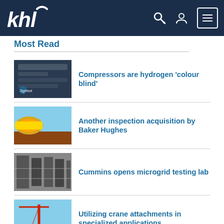KHL
Most Read
Compressors are hydrogen 'colour blind'
Another inspection acquisition by Baker Hughes
Cummins opens microgrid testing lab
Utilizing crane attachments in specialized applications
Baker Hughes to acquire Brush Group Power Generation division